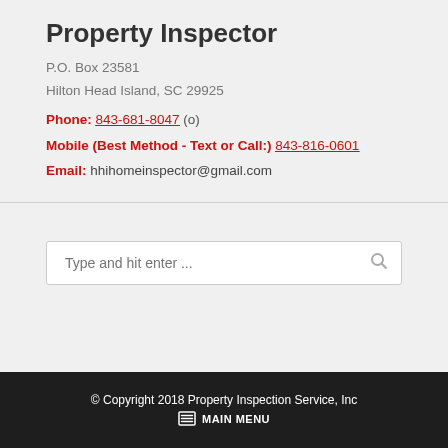Property Inspector
P.O. Box 23581
Hilton Head Island, SC 29925
Phone: 843-681-8047 (o)
Mobile (Best Method - Text or Call:) 843-816-0601
Email: hhihomeinspector@gmail.com
[Figure (other): Search input box with placeholder text 'Type and hit enter ...' and a search/magnifier icon on the right]
© Copyright 2018 Property Inspection Service, Inc
☰ MAIN MENU